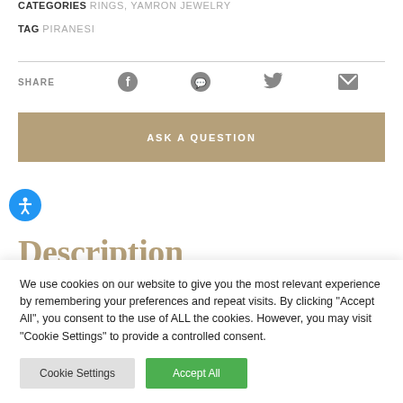CATEGORIES RINGS, YAMRON JEWELRY
TAG PIRANESI
SHARE
[Figure (other): Social share icons: Facebook, WhatsApp, Twitter, Email]
ASK A QUESTION
[Figure (other): Blue accessibility icon button (person with arms and legs extended in a circle)]
Description
We use cookies on our website to give you the most relevant experience by remembering your preferences and repeat visits. By clicking "Accept All", you consent to the use of ALL the cookies. However, you may visit "Cookie Settings" to provide a controlled consent.
Cookie Settings  Accept All